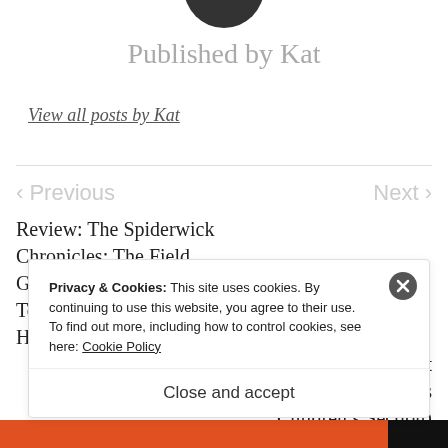[Figure (photo): Partial profile photo of Kat, cropped circular avatar at top of page]
Published by Kat
View all posts by Kat
< Previous
Next >
Review: The Spiderwick Chronicles: The Field Guide (Book One) by Tony DiTerlizzi and Holly Black
What I’m Reading (that isn’t from the library’s Children’s Section)
Privacy & Cookies: This site uses cookies. By continuing to use this website, you agree to their use.
To find out more, including how to control cookies, see here: Cookie Policy
Close and accept